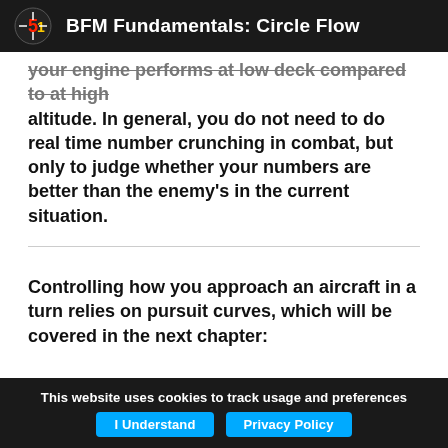BFM Fundamentals: Circle Flow
your engine performs at low deck compared to at high altitude. In general, you do not need to do real time number crunching in combat, but only to judge whether your numbers are better than the enemy's in the current situation.
Controlling how you approach an aircraft in a turn relies on pursuit curves, which will be covered in the next chapter:
This website uses cookies to track usage and preferences | I Understand | Privacy Policy